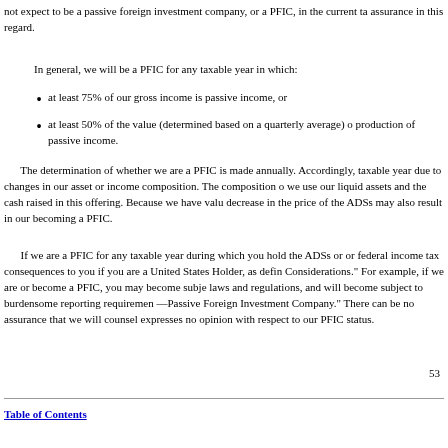not expect to be a passive foreign investment company, or a PFIC, in the current ta assurance in this regard.
In general, we will be a PFIC for any taxable year in which:
at least 75% of our gross income is passive income, or
at least 50% of the value (determined based on a quarterly average) of production of passive income.
The determination of whether we are a PFIC is made annually. Accordingly, taxable year due to changes in our asset or income composition. The composition of we use our liquid assets and the cash raised in this offering. Because we have valu decrease in the price of the ADSs may also result in our becoming a PFIC.
If we are a PFIC for any taxable year during which you hold the ADSs or or federal income tax consequences to you if you are a United States Holder, as defin Considerations.” For example, if we are or become a PFIC, you may become subje laws and regulations, and will become subject to burdensome reporting requiremen —Passive Foreign Investment Company.” There can be no assurance that we will counsel expresses no opinion with respect to our PFIC status.
53
Table of Contents